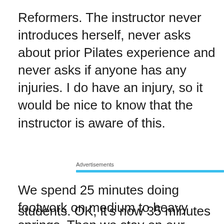Reformers.  The instructor never introduces herself, never asks about prior Pilates experience and never asks if anyone has any injuries.  I do have an injury, so it would be nice to know that the instructor is aware of this.
Advertisements
We spend 25 minutes doing footwork on medium to heavy springs.  Then we stay on our backs and do work with our hands in the straps, on a heavy spring.  I have a
Privacy & Cookies: This site uses cookies. By continuing to use this website, you agree to their use.
To find out more, including how to control cookies, see here: Cookie Policy
Close and accept
students.  OK, it's now 35 minutes into class and I still